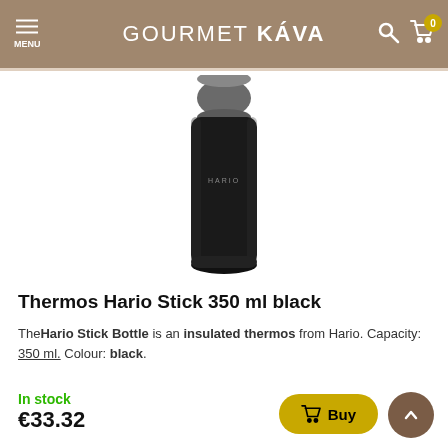GOURMET KÁVA
[Figure (photo): Black Hario Stick Bottle thermos with a dark metallic cylindrical cap, standing upright on white background. The body is matte black with a small 'HARIO' label.]
Thermos Hario Stick 350 ml black
The Hario Stick Bottle is an insulated thermos from Hario. Capacity: 350 ml. Colour: black.
In stock
€33.32